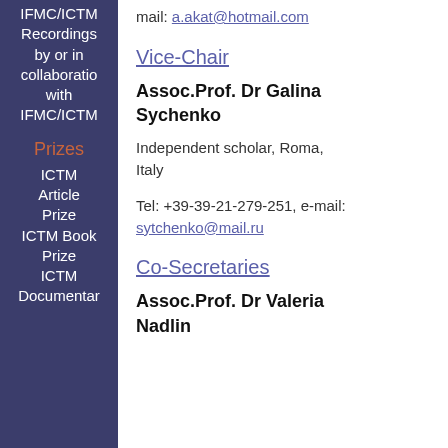IFMC/ICTM Recordings by or in collaboration with IFMC/ICTM
Prizes
ICTM Article Prize
ICTM Book Prize
ICTM Documentary
Tel: +90 545 5616576, e-mail: a.akat@hotmail.com
Vice-Chair
Assoc.Prof. Dr Galina Sychenko
Independent scholar, Roma, Italy
Tel: +39-39-21-279-251, e-mail: sytchenko@mail.ru
Co-Secretaries
Assoc.Prof. Dr Valeria Nadlin